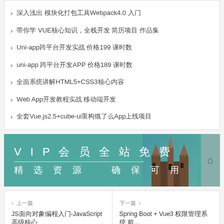深入浅出 模块化打包工具Webpack4.0 入门
带你学 VUE核心知识，全栈开发 简历项目 作品集
Uni-app跨平台开发实战 价格199 课时数
uni-app 跨平台开发APP 价格189 课时数
全面系统讲解HTML5+CSS3核心内容
Web App开发教程实战 移动端开发
全套Vue.js2.5+cube-ui重构饿了么App上线项目
[Figure (infographic): VIP会员全站免费 精选资源 确保可用 banner with castle illustration]
上一篇  JS面向对象编程入门-JavaScript高级核心
下一篇  Spring Boot + Vue3 权限管理系统 前...
评论区